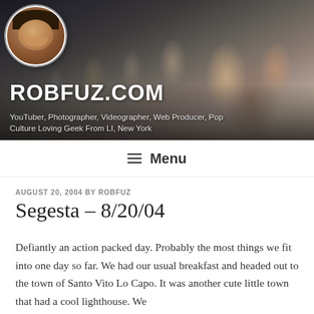[Figure (photo): Website header banner with crowd/party photo in background, circular profile photo of a man in top-left corner]
ROBFUZ.COM
YouTuber, Photographer, Videographer, Web Producer, Pop Culture Loving Geek From LI, New York
≡ Menu
AUGUST 20, 2004 BY ROBFUZ
Segesta – 8/20/04
Defiantly an action packed day. Probably the most things we fit into one day so far. We had our usual breakfast and headed out to the town of Santo Vito Lo Capo. It was another cute little town that had a cool lighthouse. We